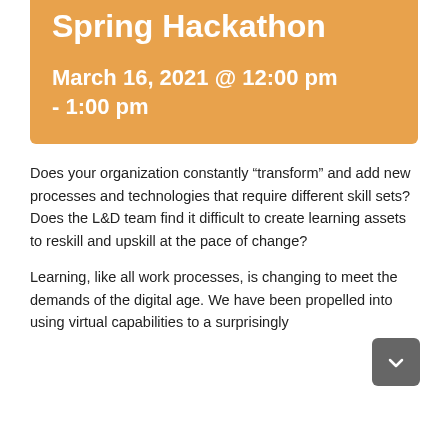Spring Hackathon
March 16, 2021 @ 12:00 pm - 1:00 pm
Does your organization constantly “transform” and add new processes and technologies that require different skill sets? Does the L&D team find it difficult to create learning assets to reskill and upskill at the pace of change?
Learning, like all work processes, is changing to meet the demands of the digital age. We have been propelled into using virtual capabilities to a surprisingly